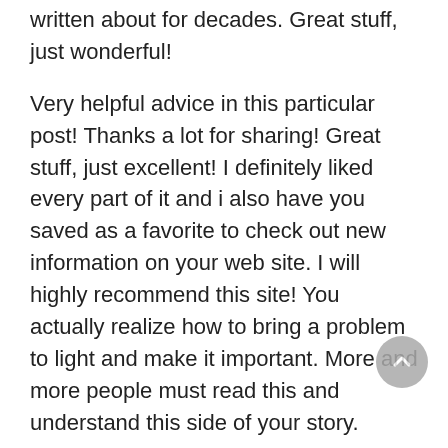written about for decades. Great stuff, just wonderful!
Very helpful advice in this particular post! Thanks a lot for sharing! Great stuff, just excellent! I definitely liked every part of it and i also have you saved as a favorite to check out new information on your web site. I will highly recommend this site! You actually realize how to bring a problem to light and make it important. More and more people must read this and understand this side of your story.
Доставка алкоголя якутск. I am returning to your blog for more soon. I certainly loved every little bit of it. You certainly put a brand new spin on a topic which has been written about for a long time. It will always be exciting read content from other authors and practice something from their web sites. I definitely enjoyed every little bit of it